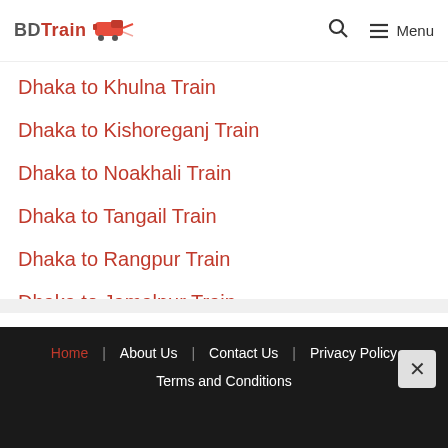BDTrain [logo with train icon] | Search | Menu
Dhaka to Khulna Train
Dhaka to Kishoreganj Train
Dhaka to Noakhali Train
Dhaka to Tangail Train
Dhaka to Rangpur Train
Dhaka to Jamalpur Train
Home | About Us | Contact Us | Privacy Policy | Terms and Conditions